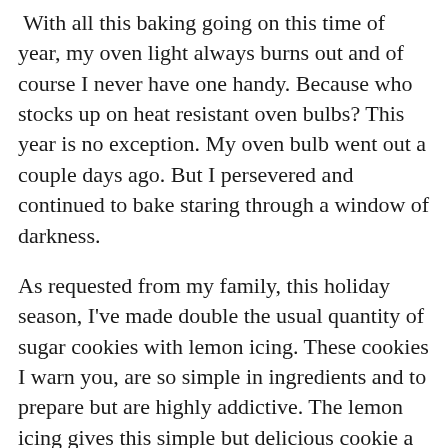With all this baking going on this time of year, my oven light always burns out and of course I never have one handy. Because who stocks up on heat resistant oven bulbs? This year is no exception. My oven bulb went out a couple days ago. But I persevered and continued to bake staring through a window of darkness.
As requested from my family, this holiday season, I've made double the usual quantity of sugar cookies with lemon icing. These cookies I warn you, are so simple in ingredients and to prepare but are highly addictive. The lemon icing gives this simple but delicious cookie a subtle tang and zing. I tend to bake at least 6 dozen by the time Christmas arrives. The theme I've selected here is woodland creatures to match our Christmas tree and mantel. You can sprinkle and decorate them with anything. Here I've sprinkled variations of thyme, sesame seeds, poppy